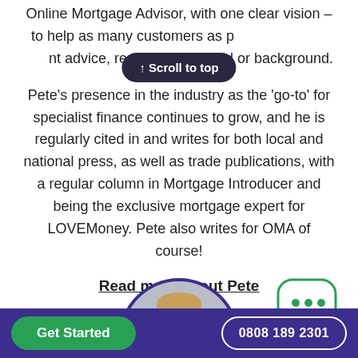Online Mortgage Advisor, with one clear vision – to help as many customers as possible get the right advice, regardless of need or background.
Pete's presence in the industry as the 'go-to' for specialist finance continues to grow, and he is regularly cited in and writes for both local and national press, as well as trade publications, with a regular column in Mortgage Introducer and being the exclusive mortgage expert for LOVEMoney. Pete also writes for OMA of course!
Read more about Pete
[Figure (photo): Circular portrait photo of Pete, a blond man, with a purple border, and a chat bubble icon to the right]
Get Started | 0808 189 2301